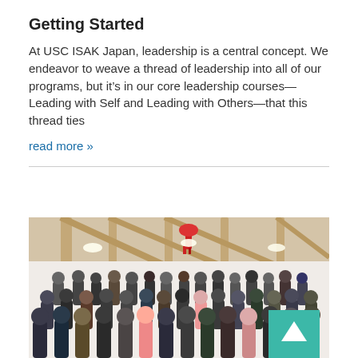Getting Started
At USC ISAK Japan, leadership is a central concept. We endeavor to weave a thread of leadership into all of our programs, but it’s in our core leadership courses—Leading with Self and Leading with Others—that this thread ties
read more »
[Figure (photo): Group photo of USC ISAK Japan students and staff gathered inside a building with wooden beam ceiling, with a teal back-to-top button overlay in the lower right corner]